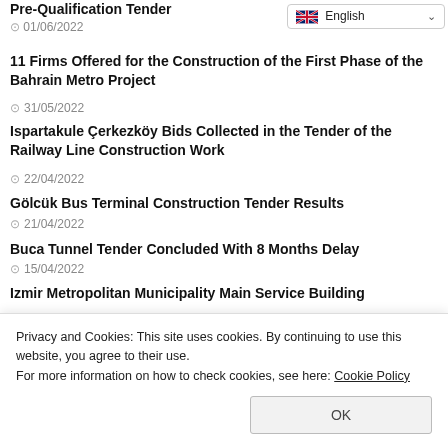Pre-Qualification Tender
01/06/2022
[Figure (screenshot): English language selector dropdown with UK flag]
11 Firms Offered for the Construction of the First Phase of the Bahrain Metro Project
31/05/2022
Ispartakule Çerkezköy Bids Collected in the Tender of the Railway Line Construction Work
22/04/2022
Gölcük Bus Terminal Construction Tender Results
21/04/2022
Buca Tunnel Tender Concluded With 8 Months Delay
15/04/2022
Izmir Metropolitan Municipality Main Service Building
Privacy and Cookies: This site uses cookies. By continuing to use this website, you agree to their use. For more information on how to check cookies, see here: Cookie Policy
OK